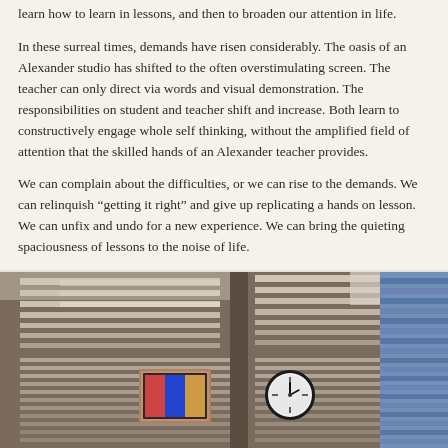learn how to learn in lessons, and then to broaden our attention in life.
In these surreal times, demands have risen considerably. The oasis of an Alexander studio has shifted to the often overstimulating screen. The teacher can only direct via words and visual demonstration. The responsibilities on student and teacher shift and increase. Both learn to constructively engage whole self thinking, without the amplified field of attention that the skilled hands of an Alexander teacher provides.
We can complain about the difficulties, or we can rise to the demands. We can relinquish “getting it right” and give up replicating a hands on lesson. We can unfix and undo for a new experience. We can bring the quieting spaciousness of lessons to the noise of life.
It’s a tall order, but by increments we learn, adapt, remain curious and rise with ease from the chair.
[Figure (photo): Interior photo of an Alexander Technique studio showing horizontal blinds casting striped light patterns on the walls. A framed picture and a round clock are visible on the wall. A mirror or window on the right shows blue blinds.]